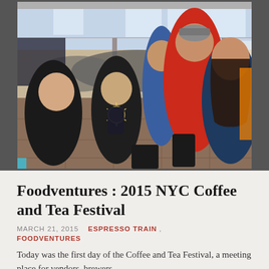[Figure (photo): Indoor crowd scene at the 2015 NYC Coffee and Tea Festival. Many people browsing vendor booths in a large hall. A man in a red jacket and gray cap is prominent in the center foreground. A woman with long dark hair is visible on the right. People are carrying bags and shopping.]
Foodventures : 2015 NYC Coffee and Tea Festival
MARCH 21, 2015   ESPRESSO TRAIN,  FOODVENTURES
Today was the first day of the Coffee and Tea Festival, a meeting place for vendors, brewers,